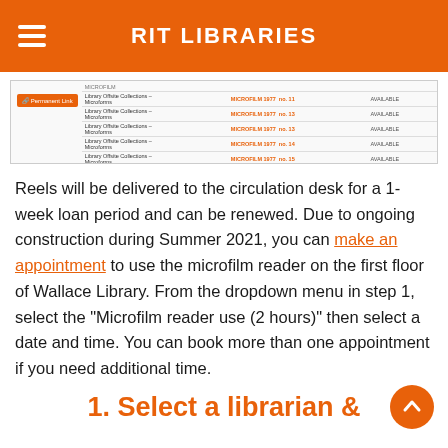RIT LIBRARIES
[Figure (screenshot): Screenshot of a library catalog showing rows with 'Library Offsite Collections – Microforms', MICROFILM 1977 entries (no. 11–15), and AVAILABLE status]
Reels will be delivered to the circulation desk for a 1-week loan period and can be renewed. Due to ongoing construction during Summer 2021, you can make an appointment to use the microfilm reader on the first floor of Wallace Library. From the dropdown menu in step 1, select the "Microfilm reader use (2 hours)" then select a date and time. You can book more than one appointment if you need additional time.
1. Select a librarian &